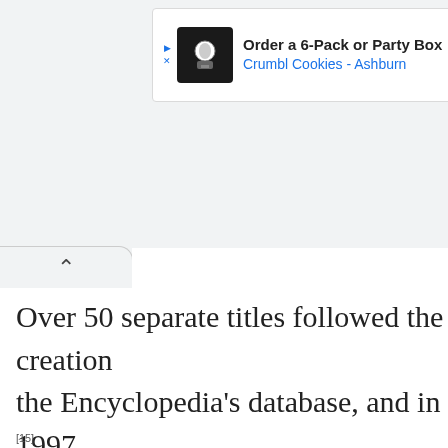[Figure (other): Advertisement banner: Order a 6-Pack or Party Box, Crumbl Cookies - Ashburn]
Over 50 separate titles followed the creation of the Encyclopedia's database, and in 1997 Larkin sold Square One Books to American data company Muze.[17] Larkin became full-time editor-in-chief and ran the encyclopedia as a cottage industry, with a team of fewer than ten contributors, who in terms of wordcount were "producing an Agatha Christie novel a month
[15]